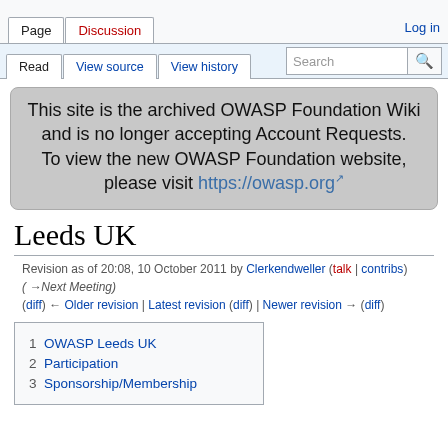Page  Discussion  Log in
Read  View source  View history  Search
This site is the archived OWASP Foundation Wiki and is no longer accepting Account Requests. To view the new OWASP Foundation website, please visit https://owasp.org
Leeds UK
Revision as of 20:08, 10 October 2011 by Clerkendweller (talk | contribs) (→Next Meeting)
(diff) ← Older revision | Latest revision (diff) | Newer revision → (diff)
1 OWASP Leeds UK
2 Participation
3 Sponsorship/Membership